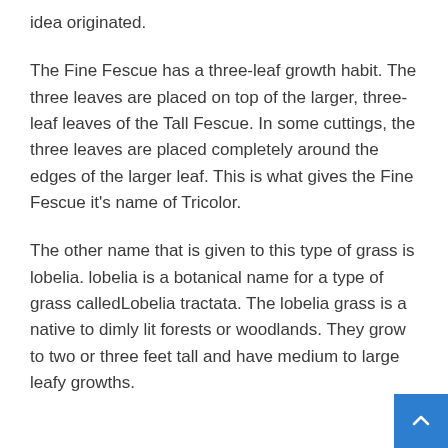idea originated.
The Fine Fescue has a three-leaf growth habit. The three leaves are placed on top of the larger, three-leaf leaves of the Tall Fescue. In some cuttings, the three leaves are placed completely around the edges of the larger leaf. This is what gives the Fine Fescue it's name of Tricolor.
The other name that is given to this type of grass is lobelia. lobelia is a botanical name for a type of grass calledLobelia tractata. The lobelia grass is a native to dimly lit forests or woodlands. They grow to two or three feet tall and have medium to large leafy growths.